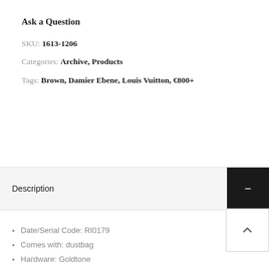Ask a Question
SKU: 1613-1206
Categories: Archive, Products
Tags: Brown, Damier Ebene, Louis Vuitton, €800+
Description
Date/Serial Code: RI0179
Comes with: dustbag
Hardware: Goldtone
Approx. Measurements: W13" × H9" × D 5.5"